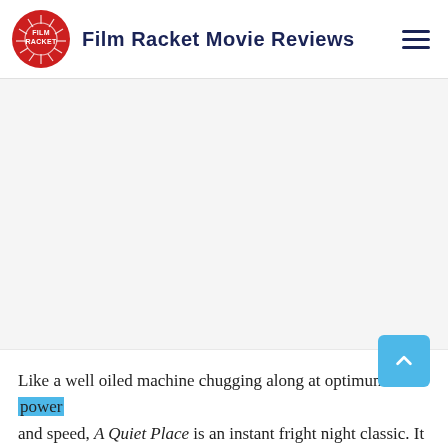Film Racket Movie Reviews
[Figure (other): Large blank/grey advertisement or image placeholder area below the header]
Like a well oiled machine chugging along at optimum power and speed, A Quiet Place is an instant fright night classic. It